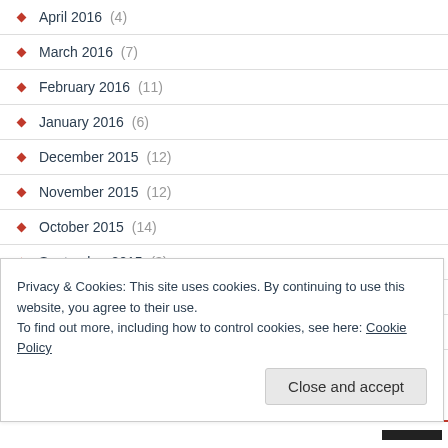April 2016 (4)
March 2016 (7)
February 2016 (11)
January 2016 (6)
December 2015 (12)
November 2015 (12)
October 2015 (14)
September 2015 (3)
August 2015 (4)
July 2015 (7)
June 2015 (6)
Privacy & Cookies: This site uses cookies. By continuing to use this website, you agree to their use. To find out more, including how to control cookies, see here: Cookie Policy